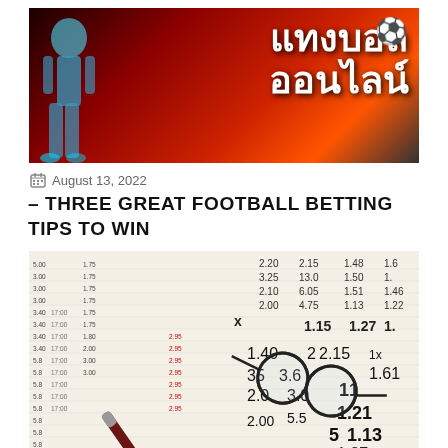[Figure (illustration): Thai sports betting banner with red/dark background showing a soccer player silhouette on the left, Thai text reading 'แทงบอล ออนไลน์' (football betting online) in white on the right, and a soccer ball emoji]
August 13, 2022
– THREE GREAT FOOTBALL BETTING TIPS TO WIN
[Figure (photo): Close-up photo of a betting odds sheet with columns of numbers (odds like 2.20, 2.15, 1.61, 1.21, 1.13, 1.27, 1.35 etc.), a dark red pen lying diagonally, and a pair of glasses resting on the paper]